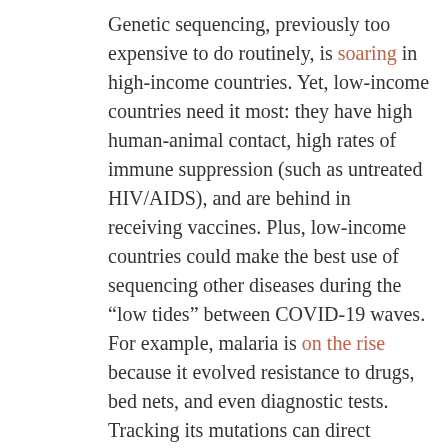Genetic sequencing, previously too expensive to do routinely, is soaring in high-income countries. Yet, low-income countries need it most: they have high human-animal contact, high rates of immune suppression (such as untreated HIV/AIDS), and are behind in receiving vaccines. Plus, low-income countries could make the best use of sequencing other diseases during the “low tides” between COVID-19 waves. For example, malaria is on the rise because it evolved resistance to drugs, bed nets, and even diagnostic tests. Tracking its mutations can direct updated products where they’re needed, spot new mutations, and even reveal how to stop malaria transmission.
Vaccine and drug updates need to be ten times faster. Regulators, manufacturers, and distributors need to pre-think decisions,